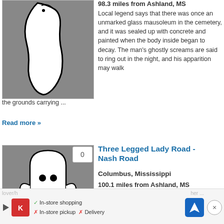[Figure (illustration): Ghost/state outline illustration on gray background]
98.3 miles from Ashland, MS
Local legend says that there was once an unmarked glass mausoleum in the cemetery, and it was sealed up with concrete and painted when the body inside began to decay. The man's ghostly screams are said to ring out in the night, and his apparition may walk the grounds carrying ...
Read more »
[Figure (illustration): Cartoon ghost illustration on gray background]
Three Legged Lady Road - Nash Road
Columbus, Mississippi
100.1 miles from Ashland, MS
The three-legged lady is an urban legend unique to Mississippi. There are numerous variations of exactly who the three-legged lady was, and how she came by her three legs. They generally involve the death of a
lover/h... her ... Read more »
✓ In-store shopping  ✗ In-store pickup  ✗ Delivery